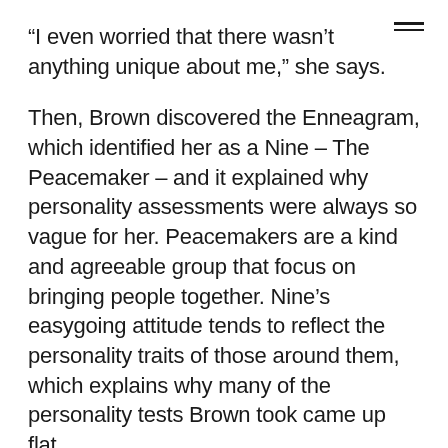“I even worried that there wasn’t anything unique about me,” she says.
Then, Brown discovered the Enneagram, which identified her as a Nine – The Peacemaker – and it explained why personality assessments were always so vague for her. Peacemakers are a kind and agreeable group that focus on bringing people together. Nine’s easygoing attitude tends to reflect the personality traits of those around them, which explains why many of the personality tests Brown took came up flat.
“I realized that I’m not broken, this is just the way I’ve been created,” she says.